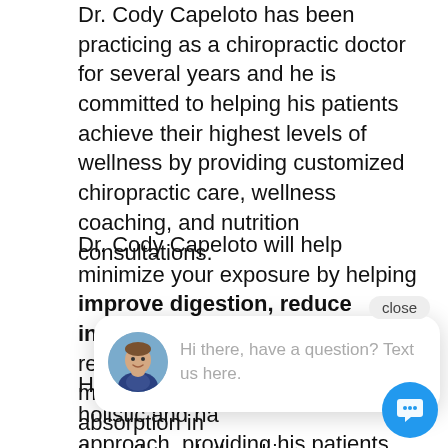Dr. Cody Capeloto has been practicing as a chiropractic doctor for several years and he is committed to helping his patients achieve their highest levels of wellness by providing customized chiropractic care, wellness coaching, and nutrition consultations.
Dr. Cody Capeloto will help minimize your exposure by helping improve digestion, reduce inflammation and alleviate pain related to injury caused by spinal misalignment and aid the absorption in the body passing them through the skin.
He is committed to having a holistic and natural approach, providing his patients with the
[Figure (screenshot): Chat popup overlay with close button, avatar photo of a man, and text 'Hi there, have a question? Text us here.' plus a blue circular chat icon button in the bottom right.]